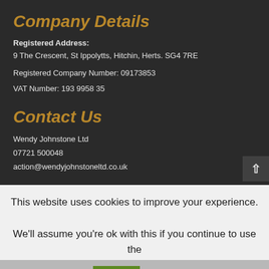Company Details
Registered Address:
9 The Crescent, St Ippolytts, Hitchin, Herts. SG4 7RE
Registered Company Number: 09173853
VAT Number: 193 9958 35
Contact Us
Wendy Johnstone Ltd
07721 500048
action@wendyjohnstoneltd.co.uk
Recent Posts
Finding the right people can be painful, so let's make it
This website uses cookies to improve your experience.
We'll assume you're ok with this if you continue to use the site.
Accept   Read More
Share This   ×